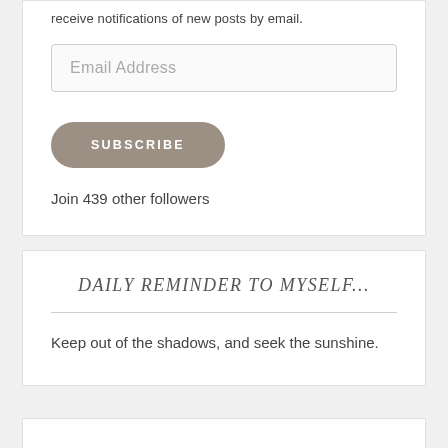receive notifications of new posts by email.
Email Address
SUBSCRIBE
Join 439 other followers
DAILY REMINDER TO MYSELF...
Keep out of the shadows, and seek the sunshine.